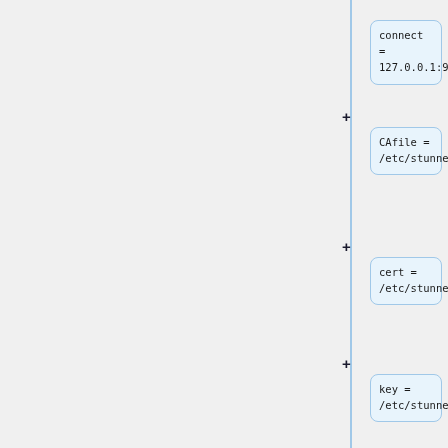[Figure (flowchart): A vertical flowchart/diagram showing configuration file entries as connected nodes on the right side of the page. Each node is a light blue rounded rectangle containing monospace configuration text. Nodes are connected by a vertical line with plus signs indicating additions. Entries shown: connect = 127.0.0.1:9101, CAfile = /etc/stunnel/tls/server.crt, cert = /etc/stunnel/tls/node.crt, key = /etc/stunnel/tls/node.key, verifyPeer = yes]